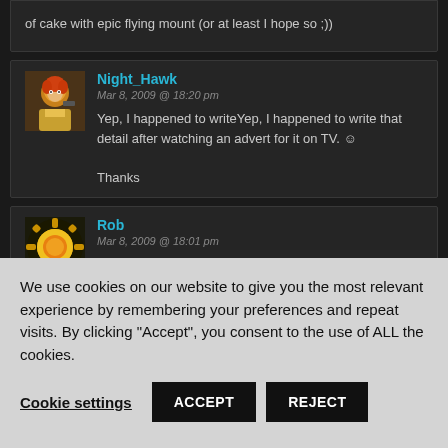of cake with epic flying mount (or at least I hope so ;))
Night_Hawk
Mar 8, 2009 @ 18:20 pm
Yep, I happened to writeYep, I happened to write that detail after watching an advert for it on TV. ☺

Thanks
Rob
Mar 8, 2009 @ 18:01 pm
We use cookies on our website to give you the most relevant experience by remembering your preferences and repeat visits. By clicking “Accept”, you consent to the use of ALL the cookies.
Cookie settings
ACCEPT
REJECT